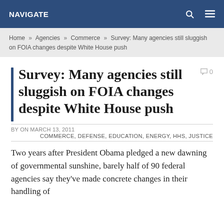NAVIGATE
Home » Agencies » Commerce » Survey: Many agencies still sluggish on FOIA changes despite White House push
Survey: Many agencies still sluggish on FOIA changes despite White House push
BY ON MARCH 13, 2011
COMMERCE, DEFENSE, EDUCATION, ENERGY, HHS, JUSTICE
Two years after President Obama pledged a new dawning of governmental sunshine, barely half of 90 federal agencies say they've made concrete changes in their handling of